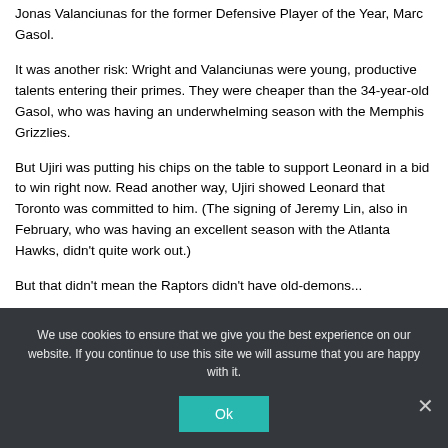Jonas Valanciunas for the former Defensive Player of the Year, Marc Gasol.
It was another risk: Wright and Valanciunas were young, productive talents entering their primes. They were cheaper than the 34-year-old Gasol, who was having an underwhelming season with the Memphis Grizzlies.
But Ujiri was putting his chips on the table to support Leonard in a bid to win right now. Read another way, Ujiri showed Leonard that Toronto was committed to him. (The signing of Jeremy Lin, also in February, who was having an excellent season with the Atlanta Hawks, didn't quite work out.)
But that didn't mean the Raptors didn't have old-demon...
We use cookies to ensure that we give you the best experience on our website. If you continue to use this site we will assume that you are happy with it.